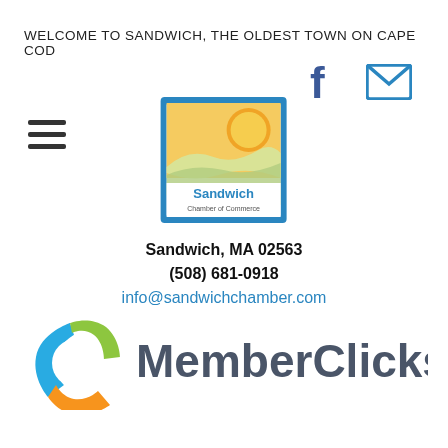WELCOME TO SANDWICH, THE OLDEST TOWN ON CAPE COD
[Figure (logo): Facebook logo icon (blue 'f')]
[Figure (logo): Email envelope icon (teal/blue outlined envelope)]
[Figure (logo): Sandwich Chamber of Commerce logo: blue-bordered square with golden sun/landscape and text 'Sandwich Chamber of Commerce']
Sandwich, MA 02563
(508) 681-0918
info@sandwichchamber.com
[Figure (logo): MemberClicks logo: circular icon with blue, green, and yellow hands/people shapes on left, bold dark gray 'MemberClicks' text on right]